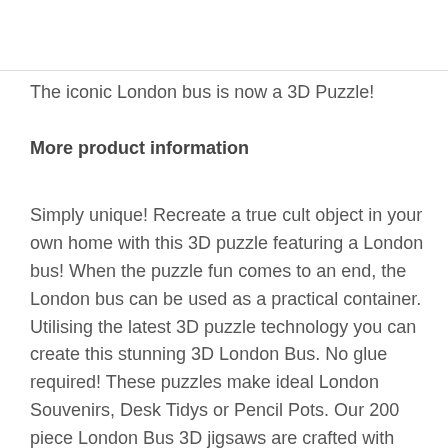The iconic London bus is now a 3D Puzzle!
More product information
Simply unique! Recreate a true cult object in your own home with this 3D puzzle featuring a London bus! When the puzzle fun comes to an end, the London bus can be used as a practical container. Utilising the latest 3D puzzle technology you can create this stunning 3D London Bus. No glue required! These puzzles make ideal London Souvenirs, Desk Tidys or Pencil Pots. Our 200 piece London Bus 3D jigsaws are crafted with premium